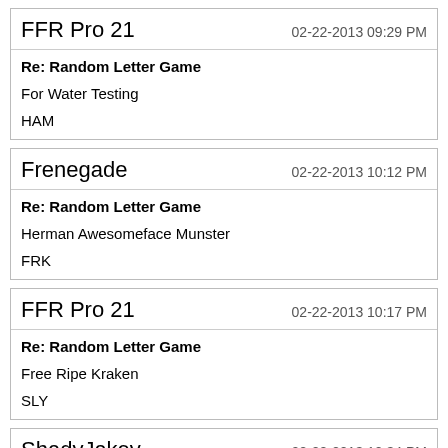FFR Pro 21 — 02-22-2013 09:29 PM
Re: Random Letter Game
For Water Testing
HAM
Frenegade — 02-22-2013 10:12 PM
Re: Random Letter Game
Herman Awesomeface Munster
FRK
FFR Pro 21 — 02-22-2013 10:17 PM
Re: Random Letter Game
Free Ripe Kraken
SLY
ShadyJakey — 02-22-2013 10:34 PM